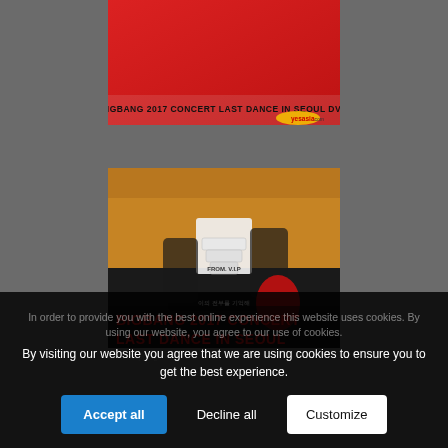[Figure (photo): BIGBANG 2017 CONCERT LAST DANCE IN SEOUL DVD cover — red background with text and yesasia.com logo]
[Figure (photo): BIGBANG 2017 CONCERT LAST DANCE IN SEOUL concert photo — band members posing with a large cake, crowd in background, bold red text overlay]
Free Shipping
In order to provide you with the best online experience this website uses cookies. By using our website, you agree to our use of cookies.
By visiting our website you agree that we are using cookies to ensure you to get the best experience.
Accept all
Decline all
Customize